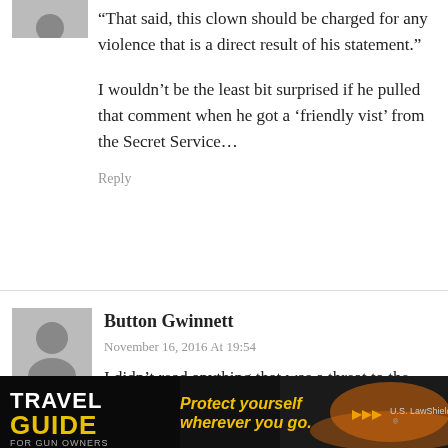“That said, this clown should be charged for any violence that is a direct result of his statement.”
I wouldn’t be the least bit surprised if he pulled that comment when he got a ‘friendly vist’ from the Secret Service…
Reply
Button Gwinnett
November 16, 2016 At 19:54
I didn’t read anything that was a threat to the President-Elect. I read protected revolutionary rhetoric. The guy’s completely wrong, of course, but…#1A
[Figure (infographic): Travel Guide for Gun Owners advertisement banner. Dark background with text: Protect yourself wherever you go. US LawShield logo.]